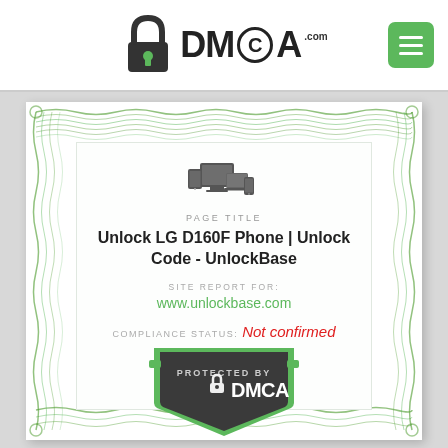[Figure (logo): DMCA.com logo with padlock icon and green menu button in header]
[Figure (infographic): DMCA compliance certificate for www.unlockbase.com showing page title 'Unlock LG D160F Phone | Unlock Code - UnlockBase', compliance status 'Not confirmed', and DMCA Protected By badge at the bottom with green guilloche border pattern]